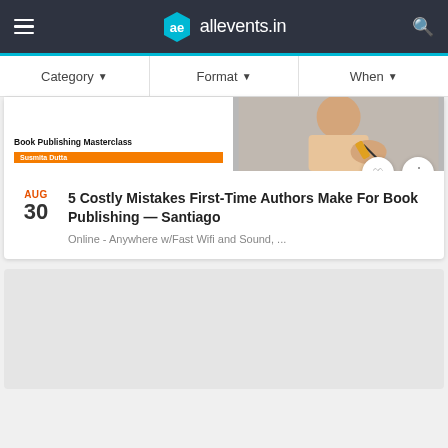allevents.in
Category ▼   Format ▼   When ▼
[Figure (screenshot): Event card image for Book Publishing Masterclass showing a woman writing with a pen, with text overlay 'Book Publishing Masterclass' and orange label 'Susmita Dutta']
AUG 30
5 Costly Mistakes First-Time Authors Make For Book Publishing — Santiago
Online - Anywhere w/Fast Wifi and Sound, ...
[Figure (other): Gray placeholder card at the bottom of the page]